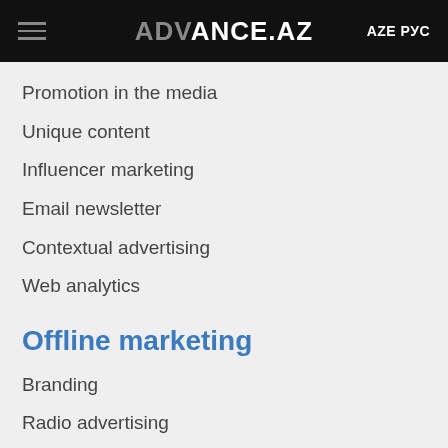ADVANCE.AZ  AZE РУС
Promotion in the media
Unique content
Influencer marketing
Email newsletter
Contextual advertising
Web analytics
Offline marketing
Branding
Radio advertising
Outdoor advertising
Photo & video shooting
Drone shooting
Organization of events